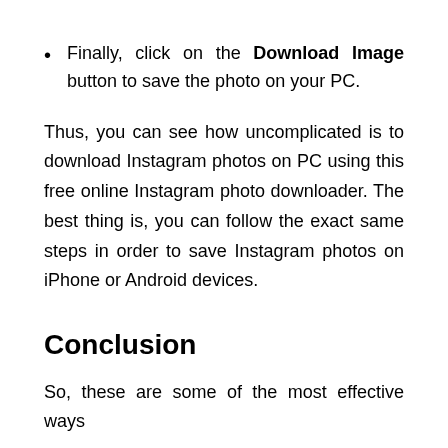Finally, click on the Download Image button to save the photo on your PC.
Thus, you can see how uncomplicated is to download Instagram photos on PC using this free online Instagram photo downloader. The best thing is, you can follow the exact same steps in order to save Instagram photos on iPhone or Android devices.
Conclusion
So, these are some of the most effective ways